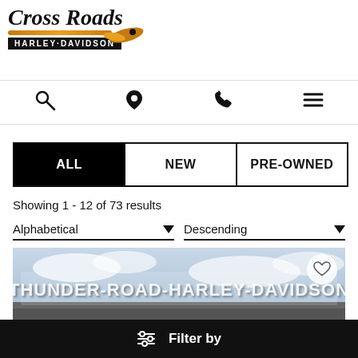[Figure (logo): Cross Roads Harley-Davidson logo with stylized text and eagle graphic]
[Figure (infographic): Mobile navigation icons: search (magnifying glass), location pin, phone, hamburger menu]
[Figure (infographic): Filter tabs: ALL (active, black background), NEW, PRE-OWNED]
Showing 1 - 12 of 73 results
[Figure (infographic): Sort dropdowns: Alphabetical (with down arrow) and Descending (with down arrow)]
[Figure (photo): Photo of Thunder Road Harley-Davidson building sign against cloudy sky, with heart/favorite button in top right corner]
[Figure (infographic): Bottom black bar with filter icon and bold text: Filter by]